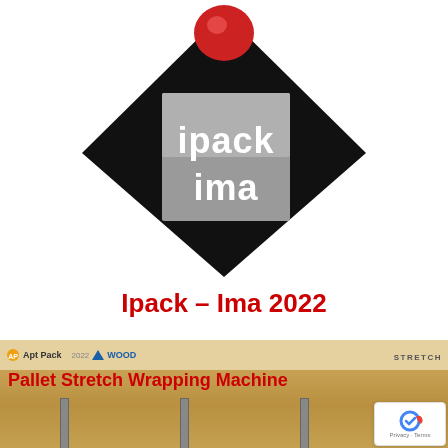[Figure (logo): Ipack-Ima logo: black diamond shape with red sphere on top, grey block in center showing 'ipack ima' text in white, and 'PROCESSING PACKAGING' text along the diamond edges]
Ipack – Ima 2022
[Figure (photo): Banner/screenshot showing 'Apt Pack', 'India Wood 2022', and 'ANAKA STRETCH' logos at top, with 'Pallet Stretch Wrapping Machine' text in red bold, and wooden pallet with vertical poles/machines below]